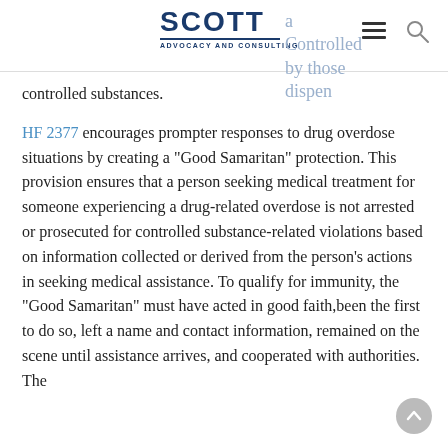Scott Advocacy and Consulting
controlled substances.
HF 2377 encourages prompter responses to drug overdose situations by creating a "Good Samaritan" protection. This provision ensures that a person seeking medical treatment for someone experiencing a drug-related overdose is not arrested or prosecuted for controlled substance-related violations based on information collected or derived from the person's actions in seeking medical assistance. To qualify for immunity, the "Good Samaritan" must have acted in good faith, been the first to do so, left a name and contact information, remained on the scene until assistance arrives, and cooperated with authorities. The